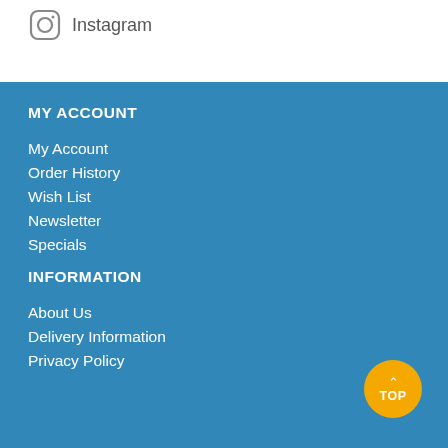[Figure (logo): Instagram icon (circular outline camera logo) followed by the text 'Instagram']
MY ACCOUNT
My Account
Order History
Wish List
Newsletter
Specials
INFORMATION
About Us
Delivery Information
Privacy Policy